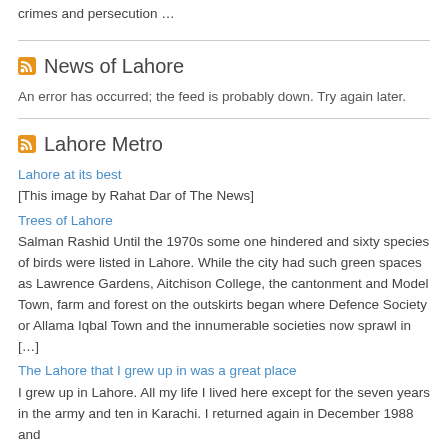crimes and persecution …
News of Lahore
An error has occurred; the feed is probably down. Try again later.
Lahore Metro
Lahore at its best
[This image by Rahat Dar of The News]
Trees of Lahore
Salman Rashid Until the 1970s some one hindered and sixty species of birds were listed in Lahore. While the city had such green spaces as Lawrence Gardens, Aitchison College, the cantonment and Model Town, farm and forest on the outskirts began where Defence Society or Allama Iqbal Town and the innumerable societies now sprawl in […]
The Lahore that I grew up in was a great place
I grew up in Lahore. All my life I lived here except for the seven years in the army and ten in Karachi. I returned again in December 1988 and